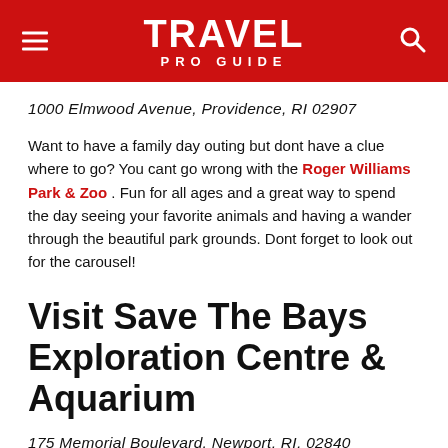TRAVEL PRO GUIDE
1000 Elmwood Avenue, Providence, RI 02907
Want to have a family day outing but dont have a clue where to go? You cant go wrong with the Roger Williams Park & Zoo . Fun for all ages and a great way to spend the day seeing your favorite animals and having a wander through the beautiful park grounds. Dont forget to look out for the carousel!
Visit Save The Bays Exploration Centre & Aquarium
175 Memorial Boulevard, Newport, RI, 02840
Their mission is to protect and improve Narragansett Bay and its admirable to see how much dedicated work has gone into the amazing